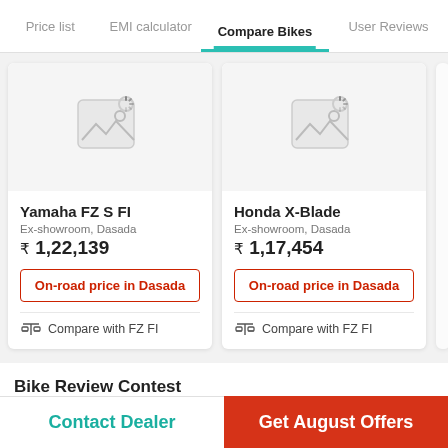Price list  EMI calculator  Compare Bikes  User Reviews
[Figure (screenshot): Yamaha FZ S FI bike image placeholder with loading spinner]
Yamaha FZ S FI
Ex-showroom, Dasada
₹ 1,22,139
On-road price in Dasada
Compare with FZ FI
[Figure (screenshot): Honda X-Blade bike image placeholder with loading spinner]
Honda X-Blade
Ex-showroom, Dasada
₹ 1,17,454
On-road price in Dasada
Compare with FZ FI
Bike Review Contest
Contact Dealer
Get August Offers